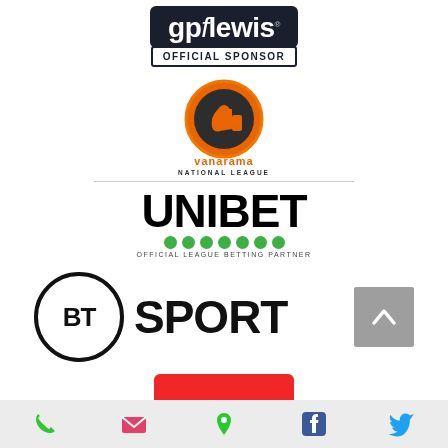[Figure (logo): gpflewis OFFICIAL SPONSOR badge - dark navy background with white bold text 'gpflewis' and white bordered 'OFFICIAL SPONSOR' label below]
[Figure (logo): Vanarama National League logo - orange circle with thumbs up icon, text 'vanarama' in orange and 'NATIONAL LEAGUE' in dark below]
[Figure (logo): UNIBET - black bold text 'UNIBET' with 7 green dots and text 'OFFICIAL LEAGUE BETTING PARTNER']
[Figure (logo): BT Sport logo - black circle with 'BT' inside, followed by 'SPORT' in bold black text, with grey scroll-up button to the right]
[Figure (logo): Partial red logo visible at bottom, cropped]
[Figure (infographic): Footer bar with phone, email, location, Facebook, and Twitter icons in green, pink/red, green, blue, and blue respectively]